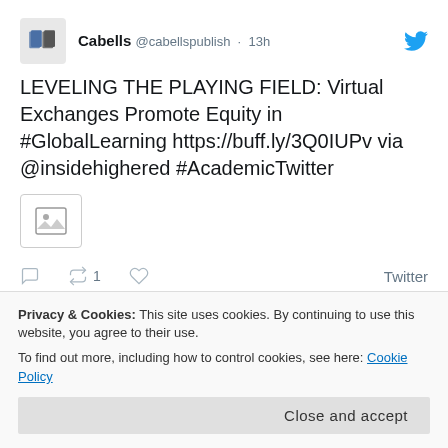[Figure (screenshot): Tweet from Cabells (@cabellspublish) posted 13 hours ago. Tweet text: LEVELING THE PLAYING FIELD: Virtual Exchanges Promote Equity in #GlobalLearning https://buff.ly/3Q0IUPv via @insidehighered #AcademicTwitter. A thumbnail image placeholder icon is shown. Below are tweet action icons (reply, retweet with count 1, like) and a Twitter link.]
Privacy & Cookies: This site uses cookies. By continuing to use this website, you agree to their use.
To find out more, including how to control cookies, see here: Cookie Policy
Close and accept